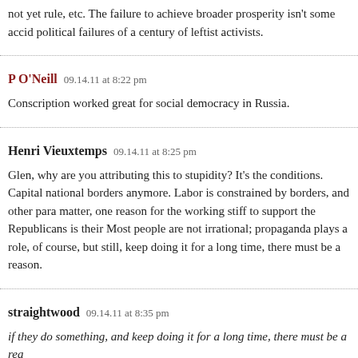not yet rule, etc. The failure to achieve broader prosperity isn't some accid political failures of a century of leftist activists.
P O'Neill   09.14.11 at 8:22 pm
Conscription worked great for social democracy in Russia.
Henri Vieuxtemps   09.14.11 at 8:25 pm
Glen, why are you attributing this to stupidity? It's the conditions. Capital national borders anymore. Labor is constrained by borders, and other para matter, one reason for the working stiff to support the Republicans is their Most people are not irrational; propaganda plays a role, of course, but still, keep doing it for a long time, there must be a reason.
straightwood   09.14.11 at 8:35 pm
if they do something, and keep doing it for a long time, there must be a rea